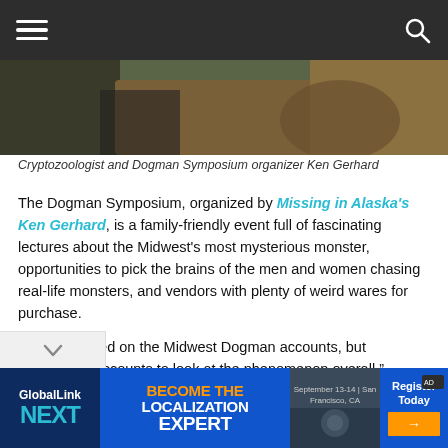[Figure (photo): Navigation bar with hamburger menu icon on left and search icon on right, dark gray background]
[Figure (photo): Partial photo of a person and an animal (brown fur visible), outdoor setting]
Cryptozoologist and Dogman Symposium organizer Ken Gerhard
The Dogman Symposium, organized by Missing in Alaska's Ken Gerhard, is a family-friendly event full of fascinating lectures about the Midwest's most mysterious monster, opportunities to pick the brains of the men and women chasing real-life monsters, and vendors with plenty of weird wares for purchase.
“We’re focused on the Midwest Dogman accounts, but broadening accounts to look at the phenomenon overall,” Gerhard told the Crescent News. “Is it possible they could be some unknown creature, something metaphysical or supernatural that can explain during legends throughout the years?”
[Figure (screenshot): Advertisement banner: GlobalLink NEXT - Become The Localization Expert, September 13-14 San Francisco CA, Register Today button]